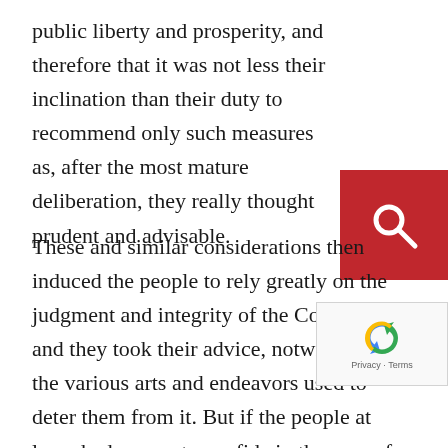public liberty and prosperity, and therefore that it was not less their inclination than their duty to recommend only such measures as, after the most mature deliberation, they really thought prudent and advisable.
[Figure (other): Red search button with magnifying glass icon]
These and similar considerations then induced the people to rely greatly on the judgment and integrity of the Congress; and they took their advice, notwithstanding the various arts and endeavors used to deter them from it. But if the people at large had reason to confide in the men of that Congress, few of whom had been fully tried or generally known, still greater reason have they now to respect the judgment and advice of the convention, for it is well known that some of the most distinguished members of that Congress, who have been since tried and justly approved for patriotism and abilities, and who have grown old in acquiring political information, were also members of this convention, and
[Figure (other): Google reCAPTCHA widget with privacy and terms text]